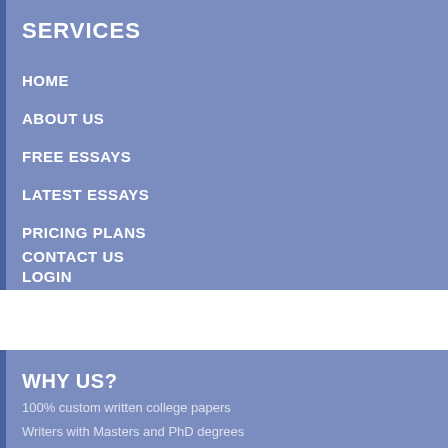SERVICES
HOME
ABOUT US
FREE ESSAYS
LATEST ESSAYS
PRICING PLANS
CONTACT US
LOGIN
WHY US?
100% custom written college papers
Writers with Masters and PhD degrees